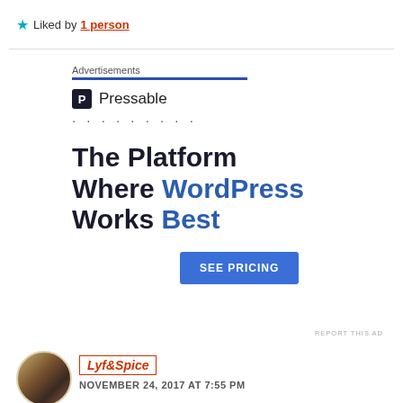★ Liked by 1 person
[Figure (infographic): Pressable advertisement: logo with 'P' icon and 'Pressable' text, dots row, headline 'The Platform Where WordPress Works Best', blue 'SEE PRICING' button, 'REPORT THIS AD' link]
Lyf&Spice
NOVEMBER 24, 2017 AT 7:55 PM